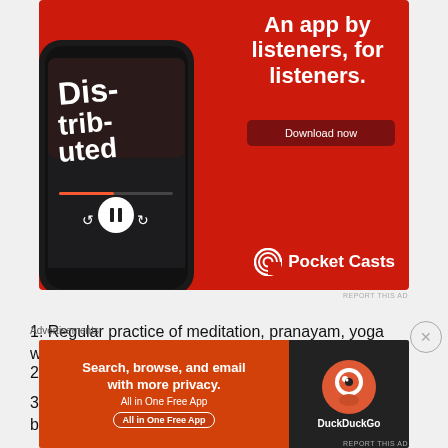[Figure (illustration): Pocket Casts advertisement on red background showing a smartphone with podcast app and text 'An app by listeners, for listeners.' with a Download now button and Pocket Casts logo]
1. Regular practice of meditation, pranayam, yoga would be of great help.
2. Any light physical activity like walking or cycling.
3. Follow regular diet schedule from morning breakfast to dinner.
Advertisements
[Figure (illustration): DuckDuckGo advertisement: 'Search, browse, and email with more privacy. All in One Free App' on orange background with DuckDuckGo logo on dark background]